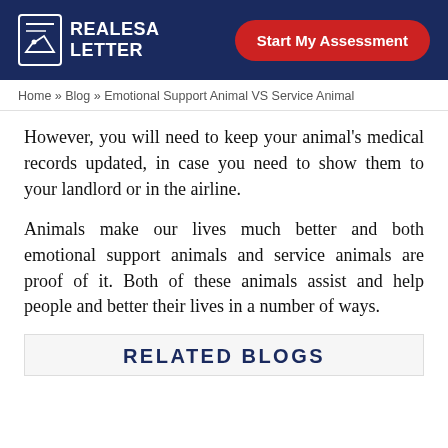REALESA LETTER | Start My Assessment
Home » Blog » Emotional Support Animal VS Service Animal
However, you will need to keep your animal's medical records updated, in case you need to show them to your landlord or in the airline.
Animals make our lives much better and both emotional support animals and service animals are proof of it. Both of these animals assist and help people and better their lives in a number of ways.
RELATED BLOGS